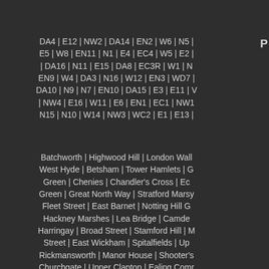P...
DA4 | E12 | NW2 | DA14 | EN2 | W6 | N5 | E5 | W8 | EN11 | N1 | E4 | EC4 | W5 | E2 | | DA16 | N11 | E15 | DA8 | EC3R | W1 | N... EN9 | W4 | DA3 | N16 | W12 | EN3 | WD7 | DA10 | N9 | N7 | EN10 | DA15 | E3 | E11 | ... | NW4 | E16 | W11 | E6 | EN1 | EC1 | NW1... N15 | N10 | W14 | NW3 | WC2 | E1 | E13 | ...
Batchworth | Highwood Hill | London Wall... West Hyde | Betsham | Tower Hamlets | G... Green | Chenies | Chandler's Cross | Ec... Green | Great North Way | Stratford Marsy... Fleet Street | East Barnet | Notting Hill G... Hackney Marshes | Lea Bridge | Camde... Harringay | Broad Street | Stamford Hill | M... Street | East Wickham | Spitalfields | Up... Rickmansworth | Manor House | Shooter's... Churchgate | Upper Clapton | Ealing Comm... Lane | Goswell Road | Temple | Palmers G... Church End | Fenchurch Street | Mano... Kensington | South Ealing | Boston Mano... Sisters | Pentonville | North Ealing | Turnha... | Lower Edmonton | Maida Vale | Bishopso...